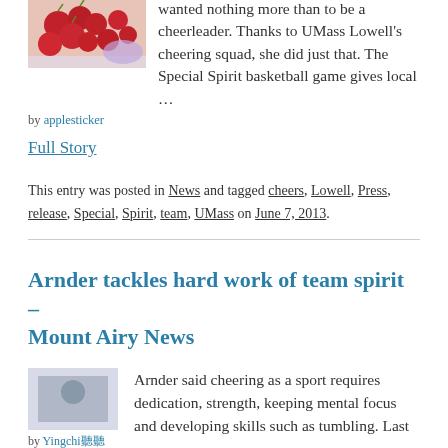[Figure (photo): A photo of cherries or red fruit in a container]
by applesticker
wanted nothing more than to be a cheerleader. Thanks to UMass Lowell's cheering squad, she did just that. The Special Spirit basketball game gives local …
Full Story
This entry was posted in News and tagged cheers, Lowell, Press, release, Special, Spirit, team, UMass on June 7, 2013.
Arnder tackles hard work of team spirit – Mount Airy News
[Figure (photo): A small thumbnail photo by Yingchi]
by Yingchi聽聽
Arnder said cheering as a sport requires dedication, strength, keeping mental focus and developing skills such as tumbling. Last year,